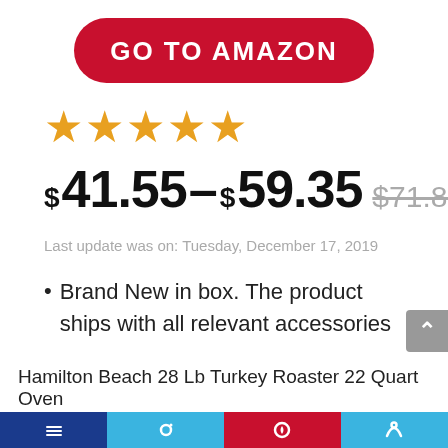[Figure (other): Red rounded rectangle button with white bold text 'GO TO AMAZON']
★★★★★
$41.55–$59.35 $71.81
Last update was on: Tuesday, December 17, 2019
Brand New in box. The product ships with all relevant accessories
Hamilton Beach 28 Lb Turkey Roaster 22 Quart Oven
[Figure (other): Bottom navigation bar with social media icons on colored segments: dark blue, light blue, red, light blue]